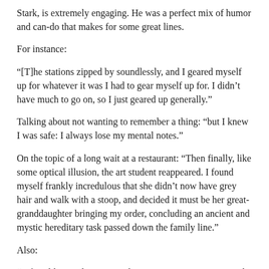Stark, is extremely engaging. He was a perfect mix of humor and can-do that makes for some great lines.
For instance:
"[T]he stations zipped by soundlessly, and I geared myself up for whatever it was I had to gear myself up for. I didn’t have much to go on, so I just geared up generally."
Talking about not wanting to remember a thing: "but I knew I was safe: I always lose my mental notes."
On the topic of a long wait at a restaurant: "Then finally, like some optical illusion, the art student reappeared. I found myself frankly incredulous that she didn’t now have grey hair and walk with a stoop, and decided it must be her great-granddaughter bringing my order, concluding an ancient and mystic hereditary task passed down the family line."
Also:
"Life is like a video game: when you get to a new screen, the thing to do is move as quickly as possible, before the situation gets any worse."